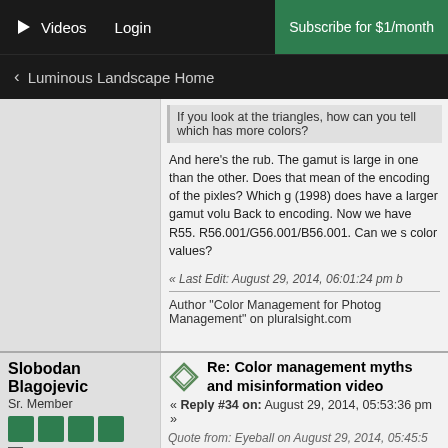▶ Videos   Login   Subscribe for $1/month
< Luminous Landscape Home
If you look at the triangles, how can you tell which has more colors?
And here's the rub. The gamut is large in one than the other. Does that mean of the encoding of the pixles? Which g (1998) does have a larger gamut volu Back to encoding. Now we have R55. R56.001/G56.001/B56.001. Can we s color values?
« Last Edit: August 29, 2014, 06:01:24 pm b
Author "Color Management for Photog Management" on pluralsight.com
Slobodan Blagojevic
Sr. Member
Offline
Posts: 17915
When everyone thinks the same, nobody thinks.
Re: Color management myths and misinformation video
« Reply #34 on: August 29, 2014, 05:53:36 pm »
Quote from: Eyeball on August 29, 2014, 05:45:5
Remember your geometry? A big tria number of points. One does not hav